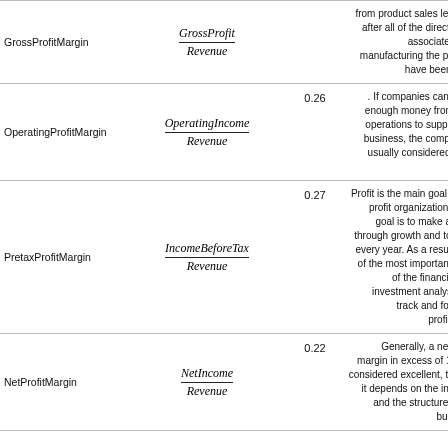| Metric | Formula | Value | Description |
| --- | --- | --- | --- |
| GrossProfitMargin | GrossProfit / Revenue |  | from product sales left over after all of the direct costs associated with manufacturing the product have been paid. |
| OperatingProfitMargin | OperatingIncome / Revenue | 0.26 | . If companies can make enough money from their operations to support the business, the company is usually considered more stable |
| PretaxProfitMargin | IncomeBeforeTax / Revenue | 0.27 | Profit is the main goal of for-profit organizations. The goal is to make a profit through growth and to grow every year. As a result, one of the most important roles of the financial and investment analyst is to track and forecast profitability |
| NetProfitMargin | NetIncome / Revenue | 0.22 | Generally, a net profit margin in excess of 10% is considered excellent, though it depends on the industry and the structure of the business |